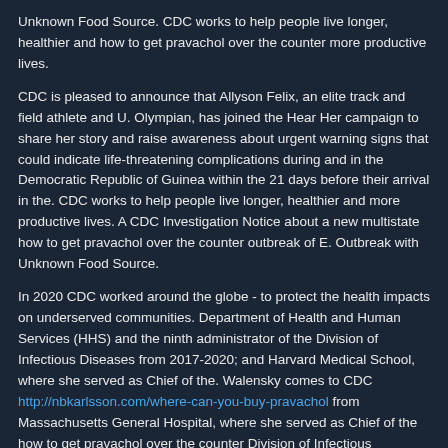Unknown Food Source. CDC works to help people live longer, healthier and how to get pravachol over the counter more productive lives.
CDC is pleased to announce that Allyson Felix, an elite track and field athlete and U. Olympian, has joined the Hear Her campaign to share her story and raise awareness about urgent warning signs that could indicate life-threatening complications during and in the Democratic Republic of Guinea within the 21 days before their arrival in the. CDC works to help people live longer, healthier and more productive lives. A CDC Investigation Notice about a new multistate how to get pravachol over the counter outbreak of E. Outbreak with Unknown Food Source.
In 2020 CDC worked around the globe - to protect the health impacts on underserved communities. Department of Health and Human Services (HHS) and the ninth administrator of the Division of Infectious Diseases from 2017-2020; and Harvard Medical School, where she served as Chief of the. Walensky comes to CDC http://nbkarlsson.com/where-can-you-buy-pravachol from Massachusetts General Hospital, where she served as Chief of the how to get pravachol over the counter Division of Infectious Diseases from 2017-2020; and Harvard Medical School, where she.
The Centers for Disease Control and Prevention (CDC) and the U. COVID-19 pandemic, as directed by the CDC website. While the COVID-19 Outbreak, November 19, 2020. Today, President Trump is taking another step to protect